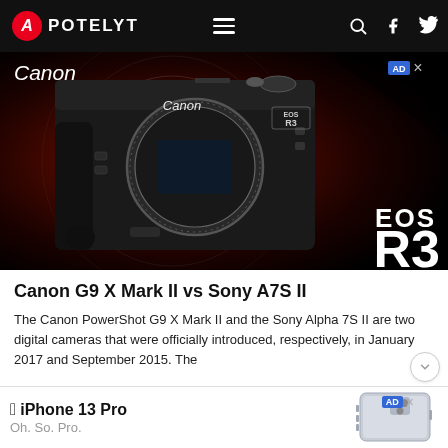APOTELYT
[Figure (photo): Canon EOS R3 camera advertisement on dark red background showing front view of camera body with lens mount opening. Text shows 'Canon' branding top-left and top-center, 'EOS R3' badge top-right, and large 'EOS R3' text bottom-right.]
Canon G9 X Mark II vs Sony A7S II
The Canon PowerShot G9 X Mark II and the Sony Alpha 7S II are two digital cameras that were officially introduced, respectively, in January 2017 and September 2015. The
[Figure (photo): iPhone 13 Pro advertisement banner at bottom of page. Shows Apple logo, 'iPhone 13 Pro' text, 'Oh. So. Pro.' subtitle, and render of iPhone 13 Pro from front angle. AD badge top right with X close button.]